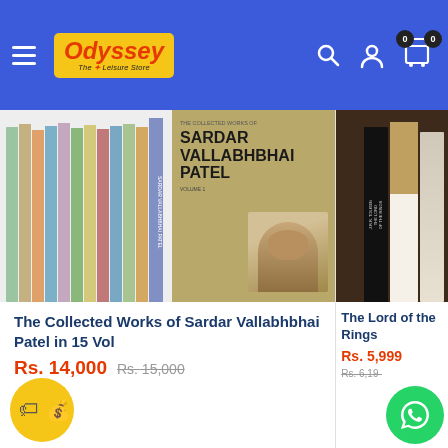[Figure (screenshot): Odyssey The Leisure Store website header with hamburger menu, logo, search, user, and cart icons on blue background]
[Figure (photo): Multi-volume boxed set of The Collected Works of Sardar Vallabhbhai Patel in 15 volumes, showing colorful spines and main olive/tan cover with portrait]
The Collected Works of Sardar Vallabhbhai Patel in 15 Vol
Rs. 14,000  Rs. 15,000
[Figure (photo): The Lord of the Rings book set displayed on wooden surface]
The Lord of the Rings
Rs. 5,999  Rs. 6,19-